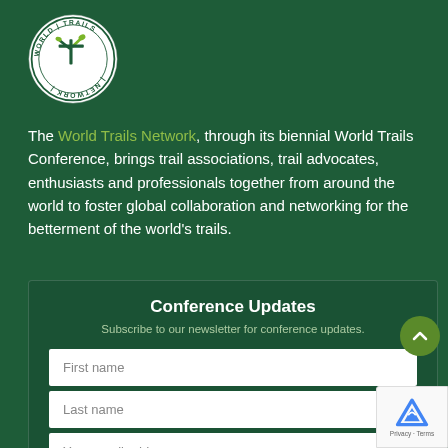[Figure (logo): World Trails Network circular logo with a trail/tree icon in the center, text around the border reading WORLD TRAILS NETWORK]
The World Trails Network, through its biennial World Trails Conference, brings trail associations, trail advocates, enthusiasts and professionals together from around the world to foster global collaboration and networking for the betterment of the world's trails.
Conference Updates
Subscribe to our newsletter for conference updates.
First name
Last name
Your email address
Subscribe